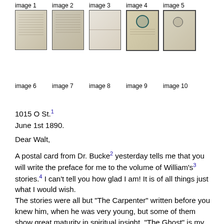[Figure (photo): Row of 5 thumbnail images of handwritten letter pages labeled image 1 through image 5]
[Figure (photo): Row of 5 thumbnail images of handwritten letter pages labeled image 6 through image 10]
1015 O St.1
June 1st 1890.
Dear Walt,
A postal card from Dr. Bucke2 yesterday tells me that you will write the preface for me to the volume of William's3 stories.4 I can't tell you how glad I am! It is of all things just what I would wish.
The stories were all but "The Carpenter" written before you knew him, when he was very young, but some of them show great maturity in spiritual insight. "The Ghost" is my favorite,